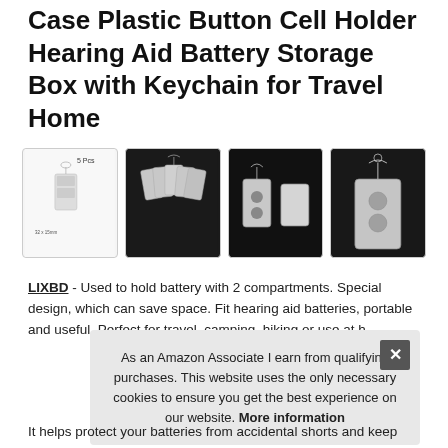Case Plastic Button Cell Holder Hearing Aid Battery Storage Box with Keychain for Travel Home
[Figure (photo): Four product photos showing hearing aid battery storage boxes with keychains. First image shows 5 pieces with dimensions, second shows multiple units fanned out on dark background, third shows open box and a battery on dark background, fourth shows single box with keychain on dark background.]
LIXBD - Used to hold battery with 2 compartments. Special design, which can save space. Fit hearing aid batteries, portable and useful. Perfect for travel, camping, hiking or use at h
As an Amazon Associate I earn from qualifying purchases. This website uses the only necessary cookies to ensure you get the best experience on our website. More information
It helps protect your batteries from accidental shorts and keep